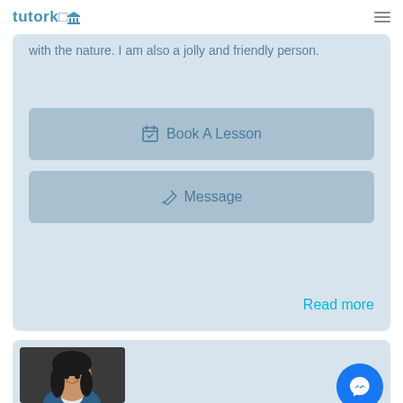tutorko
with the nature. I am also a jolly and friendly person.
Book A Lesson
Message
Read more
[Figure (photo): Profile photo of a young woman with long dark hair, wearing a blue blazer, smiling, against a dark grey background]